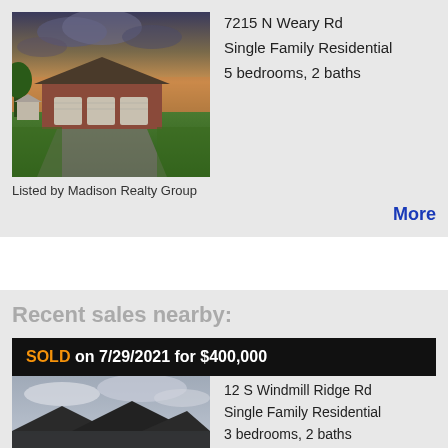[Figure (photo): Exterior photo of a residential home at 7215 N Weary Rd, showing a brick ranch house with attached garage and green lawn at dusk]
7215 N Weary Rd
Single Family Residential
5 bedrooms, 2 baths
Listed by Madison Realty Group
More
Recent sales nearby:
SOLD on 7/29/2021 for $400,000
[Figure (photo): Exterior photo of a residential home at 12 S Windmill Ridge Rd, showing the roofline against a cloudy sky]
12 S Windmill Ridge Rd
Single Family Residential
3 bedrooms, 2 baths